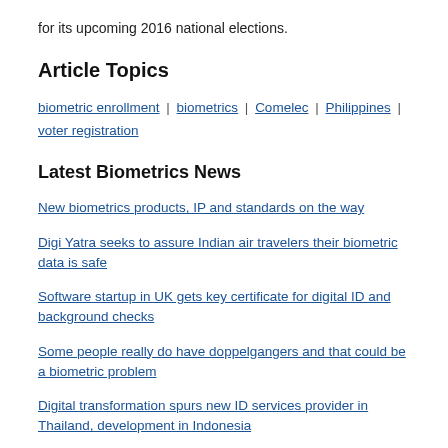for its upcoming 2016 national elections.
Article Topics
biometric enrollment | biometrics | Comelec | Philippines | voter registration
Latest Biometrics News
New biometrics products, IP and standards on the way
Digi Yatra seeks to assure Indian air travelers their biometric data is safe
Software startup in UK gets key certificate for digital ID and background checks
Some people really do have doppelgangers and that could be a biometric problem
Digital transformation spurs new ID services provider in Thailand, development in Indonesia
Iris biometric technology up for sale appears to be IriTech's